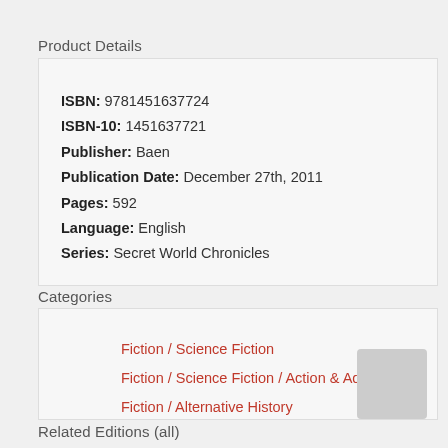Product Details
ISBN: 9781451637724
ISBN-10: 1451637721
Publisher: Baen
Publication Date: December 27th, 2011
Pages: 592
Language: English
Series: Secret World Chronicles
Categories
Fiction / Science Fiction
Fiction / Science Fiction / Action & Adventure
Fiction / Alternative History
Related Editions (all)